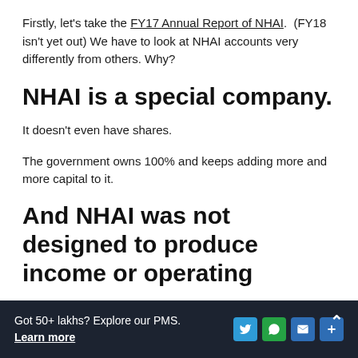Firstly, let's take the FY17 Annual Report of NHAI.  (FY18 isn't yet out) We have to look at NHAI accounts very differently from others. Why?
NHAI is a special company.
It doesn't even have shares.
The government owns 100% and keeps adding more and more capital to it.
And NHAI was not designed to produce income or operating
Got 50+ lakhs? Explore our PMS.  Learn more